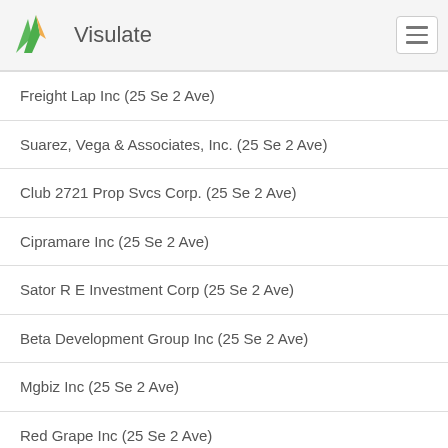Visulate
Freight Lap Inc (25 Se 2 Ave)
Suarez, Vega & Associates, Inc. (25 Se 2 Ave)
Club 2721 Prop Svcs Corp. (25 Se 2 Ave)
Cipramare Inc (25 Se 2 Ave)
Sator R E Investment Corp (25 Se 2 Ave)
Beta Development Group Inc (25 Se 2 Ave)
Mgbiz Inc (25 Se 2 Ave)
Red Grape Inc (25 Se 2 Ave)
Aconsa International LLC (245 Se 1st St)
Beauty Ink, Inc (245 Se 1 Street Suite 334)